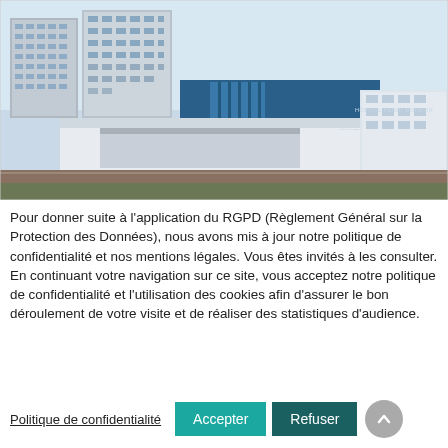[Figure (photo): Aerial/exterior view of Hôpital Henri Mondor hospital building — a modern multi-story structure with blue and white façade, large glazed entrance, and residential towers in the background.]
Pour donner suite à l'application du RGPD (Règlement Général sur la Protection des Données), nous avons mis à jour notre politique de confidentialité et nos mentions légales. Vous êtes invités à les consulter. En continuant votre navigation sur ce site, vous acceptez notre politique de confidentialité et l'utilisation des cookies afin d'assurer le bon déroulement de votre visite et de réaliser des statistiques d'audience.
Politique de confidentialité
Accepter
Refuser